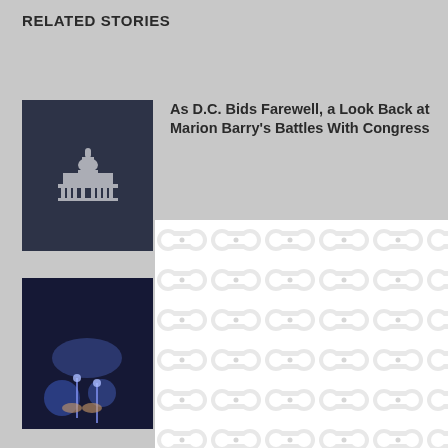RELATED STORIES
[Figure (screenshot): Thumbnail image of US Capitol building icon on dark blue background]
As D.C. Bids Farewell, a Look Back at Marion Barry's Battles With Congress
[Figure (screenshot): Thumbnail image of blue-lit stage or event scene with people]
...Back at
[Figure (screenshot): Thumbnail image of Capitol building icon on dark background]
...and 78
[Figure (screenshot): Thumbnail image of shop front with teal Thank You sign]
...and 78
[Figure (screenshot): Modal popup overlay with white background and repeating organic/peanut-shape tile pattern, with X close button]